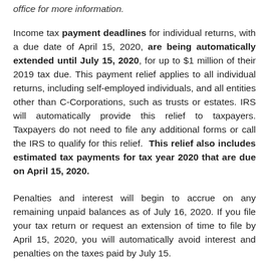office for more information.
Income tax payment deadlines for individual returns, with a due date of April 15, 2020, are being automatically extended until July 15, 2020, for up to $1 million of their 2019 tax due. This payment relief applies to all individual returns, including self-employed individuals, and all entities other than C-Corporations, such as trusts or estates. IRS will automatically provide this relief to taxpayers. Taxpayers do not need to file any additional forms or call the IRS to qualify for this relief. This relief also includes estimated tax payments for tax year 2020 that are due on April 15, 2020.
Penalties and interest will begin to accrue on any remaining unpaid balances as of July 16, 2020. If you file your tax return or request an extension of time to file by April 15, 2020, you will automatically avoid interest and penalties on the taxes paid by July 15.